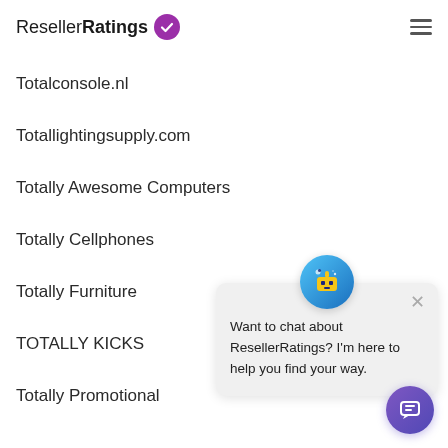ResellerRatings
Totalconsole.nl
Totallightingsupply.com
Totally Awesome Computers
Totally Cellphones
Totally Furniture
TOTALLY KICKS
Totally Promotional
[Figure (other): Chat widget popup with avatar icon and message: Want to chat about ResellerRatings? I'm here to help you find your way.]